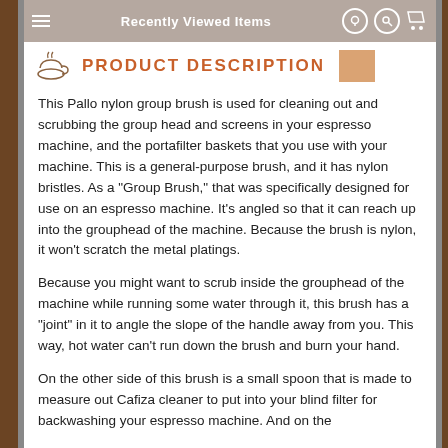Recently Viewed Items
PRODUCT DESCRIPTION
This Pallo nylon group brush is used for cleaning out and scrubbing the group head and screens in your espresso machine, and the portafilter baskets that you use with your machine. This is a general-purpose brush, and it has nylon bristles. As a "Group Brush," that was specifically designed for use on an espresso machine. It's angled so that it can reach up into the grouphead of the machine. Because the brush is nylon, it won't scratch the metal platings.
Because you might want to scrub inside the grouphead of the machine while running some water through it, this brush has a "joint" in it to angle the slope of the handle away from you. This way, hot water can't run down the brush and burn your hand.
On the other side of this brush is a small spoon that is made to measure out Cafiza cleaner to put into your blind filter for backwashing your espresso machine. And on the